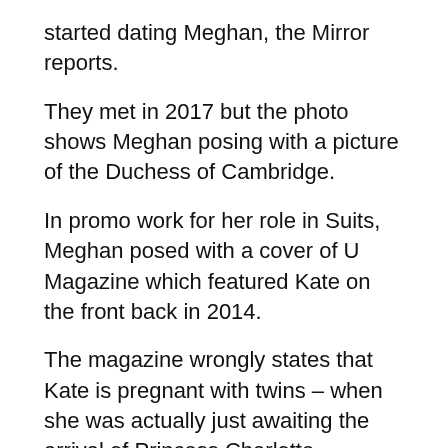started dating Meghan, the Mirror reports.
They met in 2017 but the photo shows Meghan posing with a picture of the Duchess of Cambridge.
In promo work for her role in Suits, Meghan posed with a cover of U Magazine which featured Kate on the front back in 2014.
The magazine wrongly states that Kate is pregnant with twins – when she was actually just awaiting the arrival of Princess Charlotte.
Reports initially suggested the women got on well but rumours that they were simply 'too different" were soon aired by sources.